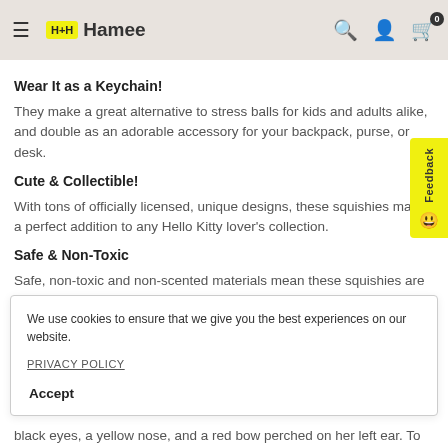Hamee
Wear It as a Keychain!
They make a great alternative to stress balls for kids and adults alike, and double as an adorable accessory for your backpack, purse, or desk.
Cute & Collectible!
With tons of officially licensed, unique designs, these squishies make a perfect addition to any Hello Kitty lover's collection.
Safe & Non-Toxic
Safe, non-toxic and non-scented materials mean these squishies are suitable toys for children of nearly all ages.
We use cookies to ensure that we give you the best experiences on our website.
PRIVACY POLICY
Accept
black eyes, a yellow nose, and a red bow perched on her left ear. To